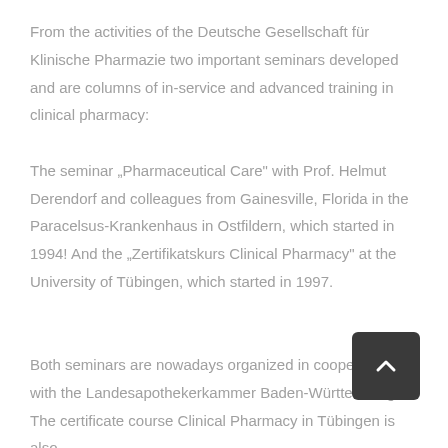From the activities of the Deutsche Gesellschaft für Klinische Pharmazie two important seminars developed and are columns of in-service and advanced training in clinical pharmacy: The seminar „Pharmaceutical Care" with Prof. Helmut Derendorf and colleagues from Gainesville, Florida in the Paracelsus-Krankenhaus in Ostfildern, which started in 1994! And the „Zertifikatskurs Clinical Pharmacy" at the University of Tübingen, which started in 1997.

Both seminars are nowadays organized in cooperation with the Landesapothekerkammer Baden-Württemberg. The certificate course Clinical Pharmacy in Tübingen is also